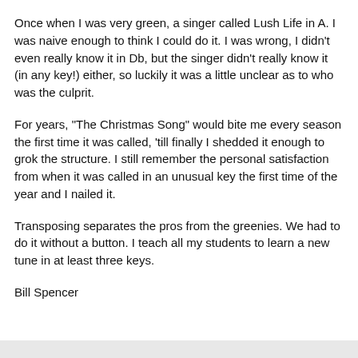Once when I was very green, a singer called Lush Life in A. I was naive enough to think I could do it. I was wrong, I didn't even really know it in Db, but the singer didn't really know it (in any key!) either, so luckily it was a little unclear as to who was the culprit.
For years, "The Christmas Song" would bite me every season the first time it was called, 'till finally I shedded it enough to grok the structure. I still remember the personal satisfaction from when it was called in an unusual key the first time of the year and I nailed it.
Transposing separates the pros from the greenies. We had to do it without a button. I teach all my students to learn a new tune in at least three keys.
Bill Spencer